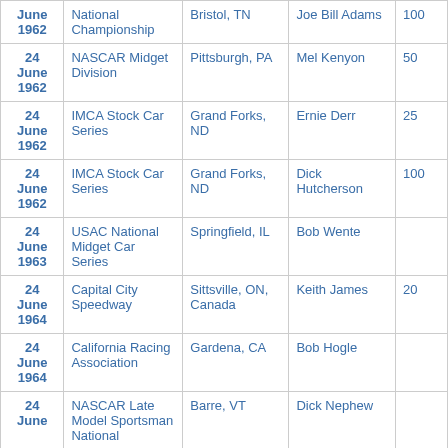| Date | Series | Location | Winner | Laps |
| --- | --- | --- | --- | --- |
| June 1962 | National Championship | Bristol, TN | Joe Bill Adams | 100 |
| 24 June 1962 | NASCAR Midget Division | Pittsburgh, PA | Mel Kenyon | 50 |
| 24 June 1962 | IMCA Stock Car Series | Grand Forks, ND | Ernie Derr | 25 |
| 24 June 1962 | IMCA Stock Car Series | Grand Forks, ND | Dick Hutcherson | 100 |
| 24 June 1963 | USAC National Midget Car Series | Springfield, IL | Bob Wente |  |
| 24 June 1964 | Capital City Speedway | Sittsville, ON, Canada | Keith James | 20 |
| 24 June 1964 | California Racing Association | Gardena, CA | Bob Hogle |  |
| 24 June | NASCAR Late Model Sportsman National | Barre, VT | Dick Nephew |  |